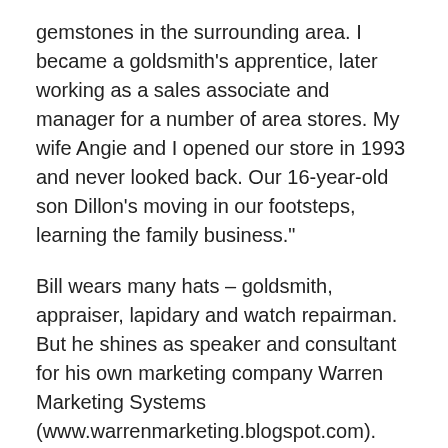gemstones in the surrounding area. I became a goldsmith's apprentice, later working as a sales associate and manager for a number of area stores. My wife Angie and I opened our store in 1993 and never looked back. Our 16-year-old son Dillon's moving in our footsteps, learning the family business."
Bill wears many hats – goldsmith, appraiser, lapidary and watch repairman. But he shines as speaker and consultant for his own marketing company Warren Marketing Systems (www.warrenmarketing.blogspot.com). "About five years ago a number of jewelers and associations heard about the great sales results we were getting at our store by what seemed to be novel methods. So my marketing career was launched.  My first seminar was at the NC Jewelers Association Convention at Sunset Beach, NC. I developed a seminar 'How to Cook With Gas, Take No